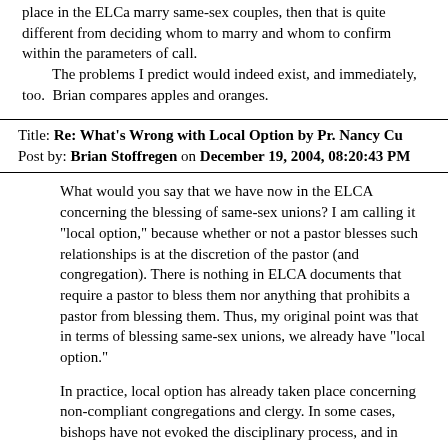place in the ELCa marry same-sex couples, then that is quite different from deciding whom to marry and whom to confirm within the parameters of call.
  The problems I predict would indeed exist, and immediately, too.  Brian compares apples and oranges.
Title: Re: What's Wrong with Local Option by Pr. Nancy Cu
Post by: Brian Stoffregen on December 19, 2004, 08:20:43 PM
What would you say that we have now in the ELCA concerning the blessing of same-sex unions? I am calling it "local option," because whether or not a pastor blesses such relationships is at the discretion of the pastor (and congregation). There is nothing in ELCA documents that require a pastor to bless them nor anything that prohibits a pastor from blessing them. Thus, my original point was that in terms of blessing same-sex unions, we already have "local option."
In practice, local option has already taken place concerning non-compliant congregations and clergy. In some cases, bishops have not evoked the disciplinary process, and in others they have.
Title: Re: What's Wrong with Local Option by Pr. Nancy Cu
Post by: Norsk on December 20, 2004, 05:25:16 AM
No, what we have is unwillingness consistently to enforce the